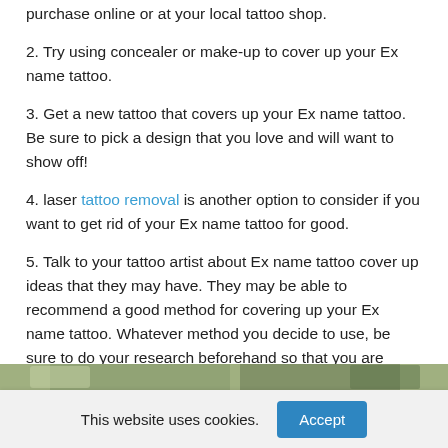purchase online or at your local tattoo shop.
2. Try using concealer or make-up to cover up your Ex name tattoo.
3. Get a new tattoo that covers up your Ex name tattoo. Be sure to pick a design that you love and will want to show off!
4. laser tattoo removal is another option to consider if you want to get rid of your Ex name tattoo for good.
5. Talk to your tattoo artist about Ex name tattoo cover up ideas that they may have. They may be able to recommend a good method for covering up your Ex name tattoo. Whatever method you decide to use, be sure to do your research beforehand so that you are happy with the results!
[Figure (photo): Partial image strip visible at bottom of content area]
This website uses cookies.
Accept